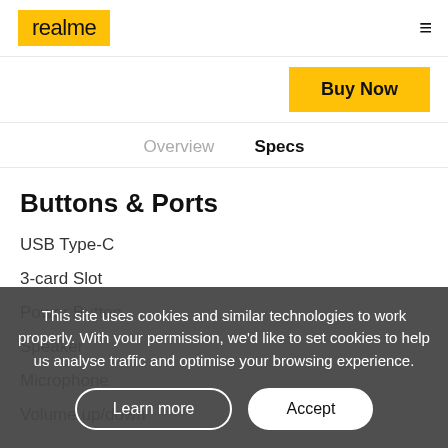realme
Buy Now
Overview  Specs
Buttons & Ports
USB Type-C
3-card Slot
Power Button
Speaker
Microphone
Volume up/down
This site uses cookies and similar technologies to work properly. With your permission, we'd like to set cookies to help us analyse traffic and optimise your browsing experience.
Learn more  Accept